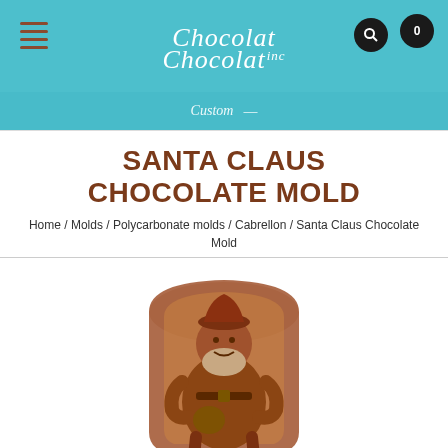Chocolat Chocolat — navigation header with hamburger menu, logo, search and cart icons
SANTA CLAUS CHOCOLATE MOLD
Home / Molds / Polycarbonate molds / Cabrellon / Santa Claus Chocolate Mold
[Figure (photo): A milk chocolate Santa Claus molded figure seated in a chair, shown from the front, detailed relief design in brown chocolate.]